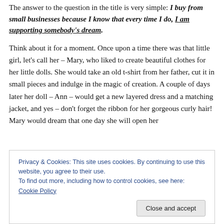The answer to the question in the title is very simple: I buy from small businesses because I know that every time I do, I am supporting somebody's dream.
Think about it for a moment. Once upon a time there was that little girl, let's call her – Mary, who liked to create beautiful clothes for her little dolls. She would take an old t-shirt from her father, cut it in small pieces and indulge in the magic of creation. A couple of days later her doll – Ann – would get a new layered dress and a matching jacket, and yes – don't forget the ribbon for her gorgeous curly hair! Mary would dream that one day she will open her not what she wanted it to be.
Privacy & Cookies: This site uses cookies. By continuing to use this website, you agree to their use.
To find out more, including how to control cookies, see here: Cookie Policy
Close and accept